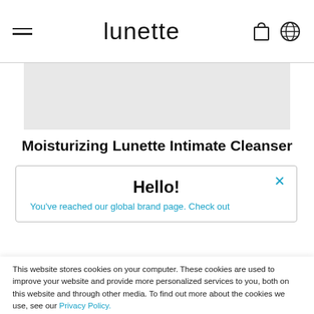lunette
[Figure (photo): Product image placeholder - gray rectangle]
Moisturizing Lunette Intimate Cleanser
Hello!
You've reached our global brand page. Check out
This website stores cookies on your computer. These cookies are used to improve your website and provide more personalized services to you, both on this website and through other media. To find out more about the cookies we use, see our Privacy Policy.

We won't track your information when you visit our site. But in order to comply with your preferences, we'll have to use just one tiny cookie so that you're not asked to make this choice again.